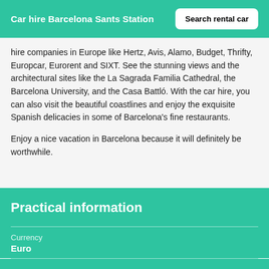Car hire Barcelona Sants Station
hire companies in Europe like Hertz, Avis, Alamo, Budget, Thrifty, Europcar, Eurorent and SIXT. See the stunning views and the architectural sites like the La Sagrada Familia Cathedral, the Barcelona University, and the Casa Battló. With the car hire, you can also visit the beautiful coastlines and enjoy the exquisite Spanish delicacies in some of Barcelona's fine restaurants.
Enjoy a nice vacation in Barcelona because it will definitely be worthwhile.
Practical information
Currency
Euro